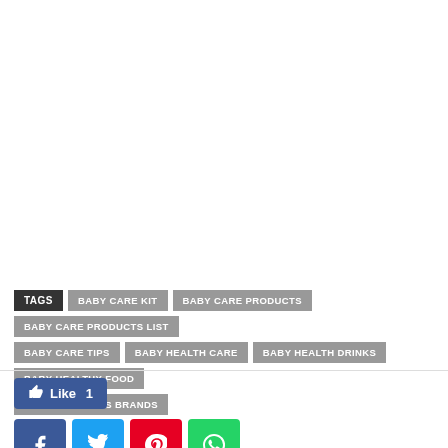TAGS  BABY CARE KIT  BABY CARE PRODUCTS  BABY CARE PRODUCTS LIST  BABY CARE TIPS  BABY HEALTH CARE  BABY HEALTH DRINKS  BABY HEALTHY FOOD  BABY PRODUCTS BRANDS
[Figure (other): Facebook Like button and social share buttons for Facebook, Twitter, Pinterest, and WhatsApp]